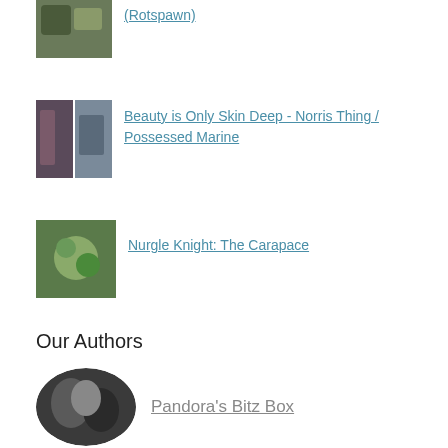(Rotspawn)
Beauty is Only Skin Deep - Norris Thing / Possessed Marine
Nurgle Knight: The Carapace
Our Authors
Pandora's Bitz Box
davyart
krakendoomcool
Ritual